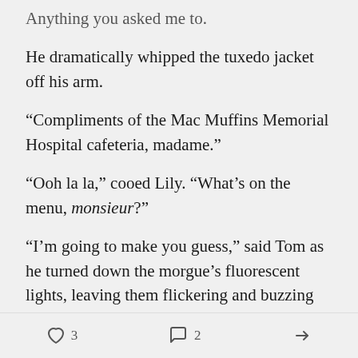Anything you asked me to.
He dramatically whipped the tuxedo jacket off his arm.
“Compliments of the Mac Muffins Memorial Hospital cafeteria, madame.”
“Ooh la la,” cooed Lily. “What’s on the menu, monsieur?”
“I’m going to make you guess,” said Tom as he turned down the morgue’s fluorescent lights, leaving them flickering and buzzing like angry wasps; snapping pops of dying light ricocheted off the stainless steel surfaces like a disco ball
3  2  share